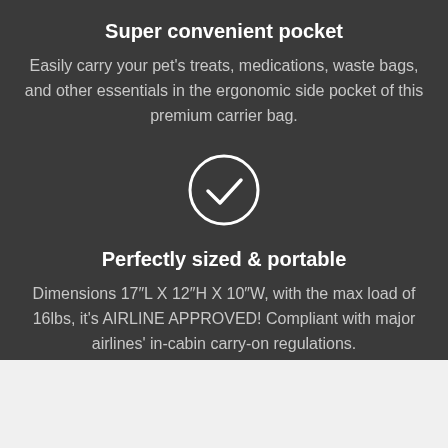Super convenient pocket
Easily carry your pet's treats, medications, waste bags, and other essentials in the ergonomic side pocket of this premium carrier bag.
[Figure (illustration): White checkmark inside a white circle outline on dark background]
Perfectly sized & portable
Dimensions 17″L X 12″H X 10″W, with the max load of 16lbs, it's AIRLINE APPROVED! Compliant with major airlines' in-cabin carry-on regulations.
[Figure (photo): Circular cropped photo of a forest/mountain landscape, partially visible at bottom of page]